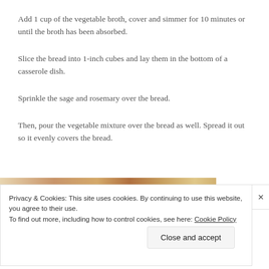Add 1 cup of the vegetable broth, cover and simmer for 10 minutes or until the broth has been absorbed.
Slice the bread into 1-inch cubes and lay them in the bottom of a casserole dish.
Sprinkle the sage and rosemary over the bread.
Then, pour the vegetable mixture over the bread as well. Spread it out so it evenly covers the bread.
[Figure (photo): Close-up photo of bread cubes or food ingredients in a casserole dish]
Privacy & Cookies: This site uses cookies. By continuing to use this website, you agree to their use. To find out more, including how to control cookies, see here: Cookie Policy
Close and accept